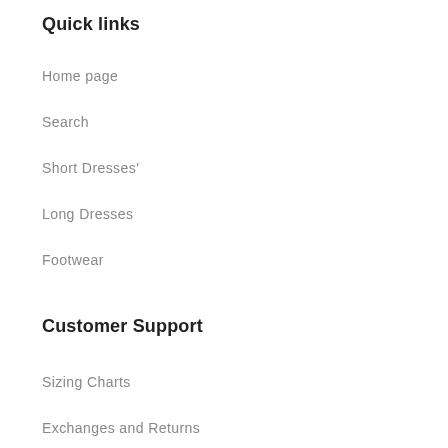Quick links
Home page
Search
Short Dresses'
Long Dresses
Footwear
Customer Support
Sizing Charts
Exchanges and Returns